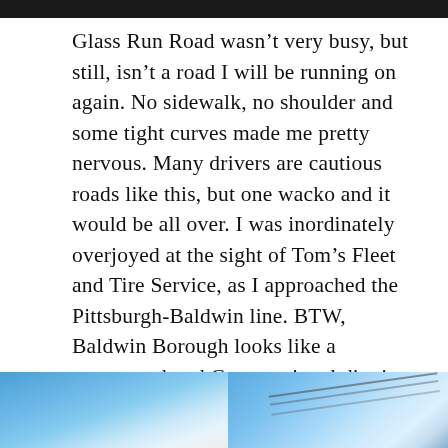[Figure (photo): Dark banner image at top of page]
Glass Run Road wasn't very busy, but still, isn't a road I will be running on again. No sidewalk, no shoulder and some tight curves made me pretty nervous. Many drivers are cautious roads like this, but one wacko and it would be all over. I was inordinately overjoyed at the sight of Tom's Fleet and Tire Service, as I approached the Pittsburgh-Baldwin line. BTW, Baldwin Borough looks like a gerrymandered Congressional district, curling from the Mon around parts of Pittsburgh, Brentwood, Bethel Park, South Park Township, Pleasant Hills and West Mifflin.
[Figure (photo): Two side-by-side photos of blue sky with clouds; the right photo shows power lines crossing the frame]